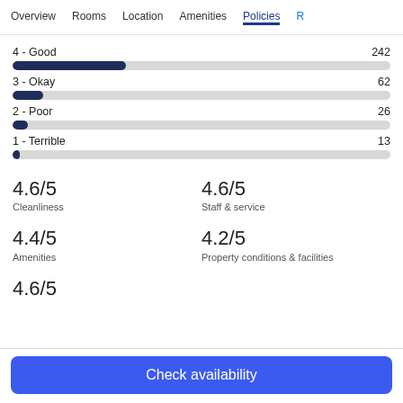Overview | Rooms | Location | Amenities | Policies | R
4 - Good  242
3 - Okay  62
2 - Poor  26
1 - Terrible  13
4.6/5 Cleanliness
4.6/5 Staff & service
4.4/5 Amenities
4.2/5 Property conditions & facilities
4.6/5
Check availability